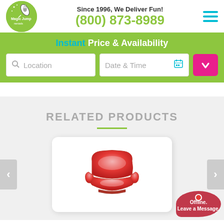Magic Jump Rentals — Since 1996, We Deliver Fun! (800) 873-8989
Instant Price & Availability
Location
Date & Time
RELATED PRODUCTS
[Figure (photo): Red inflatable armchair/lounge chair product photo on white background]
Offline. Leave a Message.